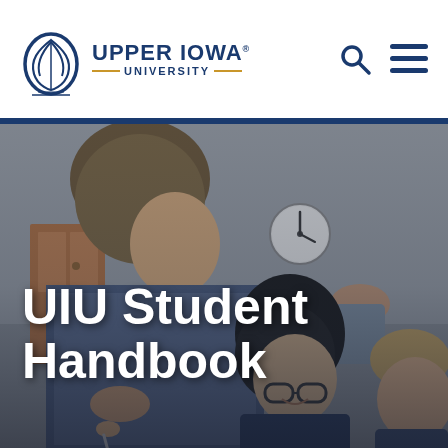[Figure (logo): Upper Iowa University logo with circular emblem and text]
[Figure (photo): Classroom scene with students collaborating at a desk; a young man leans over to look at work, a woman with dark hair and glasses smiles, another male student is visible. A clock and ceiling light are visible in the background.]
UIU Student Handbook